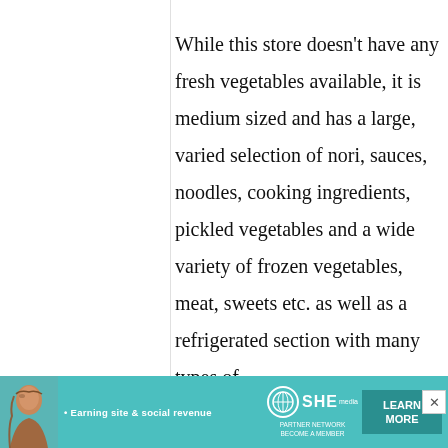While this store doesn't have any fresh vegetables available, it is medium sized and has a large, varied selection of nori, sauces, noodles, cooking ingredients, pickled vegetables and a wide variety of frozen vegetables, meat, sweets etc. as well as a refrigerated section with many types of
[Figure (advertisement): Banner advertisement for SHE Media Partner Network with tagline 'Earning site & social revenue' and a 'LEARN MORE' call-to-action button. Features a woman's photo on the left and teal background.]